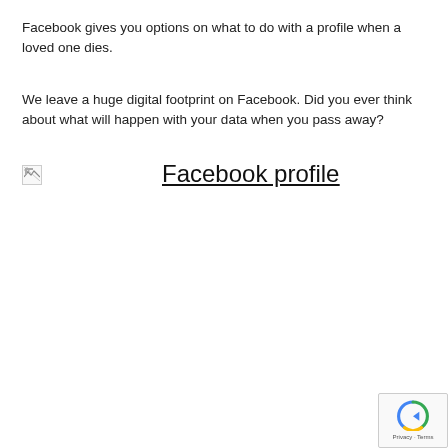Facebook gives you options on what to do with a profile when a loved one dies.
We leave a huge digital footprint on Facebook. Did you ever think about what will happen with your data when you pass away?
[Figure (other): Broken image placeholder followed by the text link 'Facebook profile']